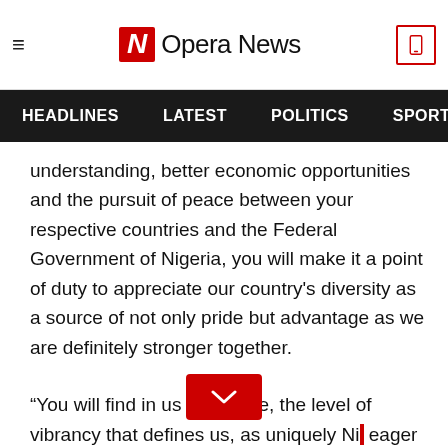Opera News
HEADLINES  LATEST  POLITICS  SPORTS
understanding, better economic opportunities and the pursuit of peace between your respective countries and the Federal Government of Nigeria, you will make it a point of duty to appreciate our country’s diversity as a source of not only pride but advantage as we are definitely stronger together.
“You will find in us as people, the level of vibrancy that defines us, as uniquely Ni… eager to make friends,